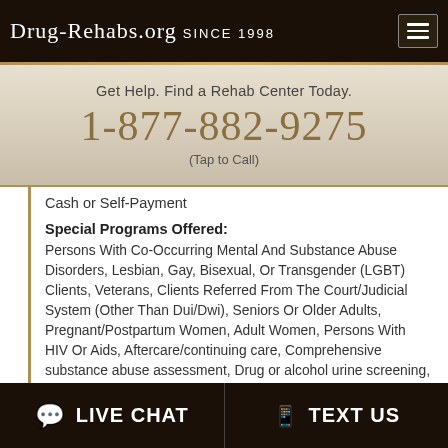Drug-Rehabs.org Since 1998
Get Help. Find a Rehab Center Today.
1-877-882-9275
(Tap to Call)
Cash or Self-Payment
Special Programs Offered:
Persons With Co-Occurring Mental And Substance Abuse Disorders, Lesbian, Gay, Bisexual, Or Transgender (LGBT) Clients, Veterans, Clients Referred From The Court/Judicial System (Other Than Dui/Dwi), Seniors Or Older Adults, Pregnant/Postpartum Women, Adult Women, Persons With HIV Or Aids, Aftercare/continuing care, Comprehensive substance abuse assessment, Drug or alcohol urine screening, Discharge Planning, Family counseling offered, housing services...
LIVE CHAT    TEXT US